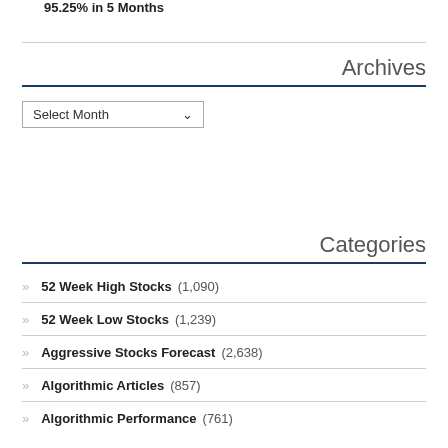95.25% in 5 Months
Archives
Select Month
Categories
52 Week High Stocks (1,090)
52 Week Low Stocks (1,239)
Aggressive Stocks Forecast (2,638)
Algorithmic Articles (857)
Algorithmic Performance (761)